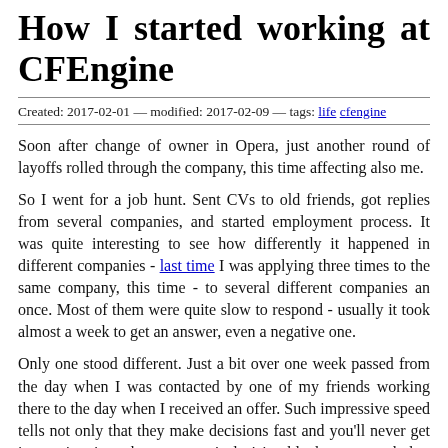How I started working at CFEngine
Created: 2017-02-01 — modified: 2017-02-09 — tags: life cfengine
Soon after change of owner in Opera, just another round of layoffs rolled through the company, this time affecting also me.
So I went for a job hunt. Sent CVs to old friends, got replies from several companies, and started employment process. It was quite interesting to see how differently it happened in different companies - last time I was applying three times to the same company, this time - to several different companies an once. Most of them were quite slow to respond - usually it took almost a week to get an answer, even a negative one.
Only one stood different. Just a bit over one week passed from the day when I was contacted by one of my friends working there to the day when I received an offer. Such impressive speed tells not only that they make decisions fast and you'll never get into a situation when someone's decision blocks your work, but also that